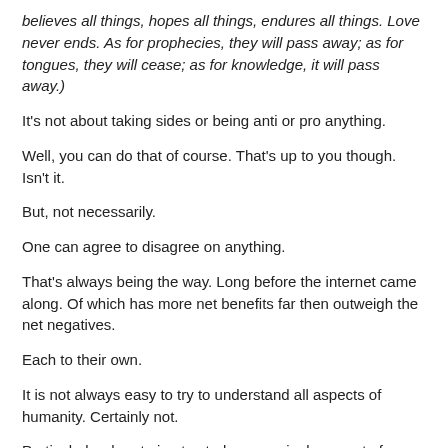believes all things, hopes all things, endures all things. Love never ends. As for prophecies, they will pass away; as for tongues, they will cease; as for knowledge, it will pass away.)
It's not about taking sides or being anti or pro anything.
Well, you can do that of course. That's up to you though. Isn't it.
But, not necessarily.
One can agree to disagree on anything.
That's always being the way. Long before the internet came along. Of which has more net benefits far then outweigh the net negatives.
Each to their own.
It is not always easy to try to understand all aspects of humanity. Certainly not.
Particularly when trying to study every single aspect of every